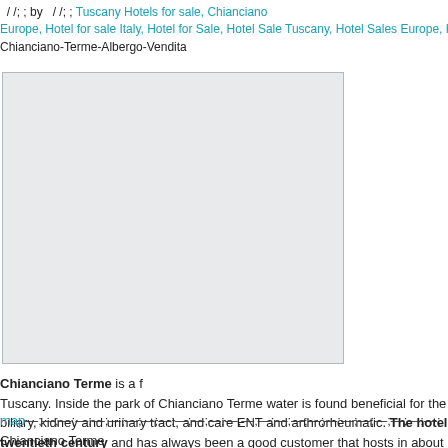&nbsp;&nbsp;/ /;&nbsp;; by &nbsp;&nbsp;/ /;&nbsp;; Tuscany Hotels for sale, Chianciano Europe, Hotel for sale Italy, Hotel for Sale, Hotel Sale Tuscany, Hotel Sales Europe, Hotels f... Chianciano-Terme-Albergo-Vendita
[Figure (photo): Large gray placeholder image box for a hotel photo in Chianciano Terme]
Chianciano Terme is a f... Tuscany. Inside the park of Chianciano Terme water is found beneficial for the biliary, kidney and urinary tract, and care ENT and arthrorheumatic. The hotel twentieth century and has always been a good customer that hosts in about rated restaurant. C.E. G 250,00 kWh / m² year provisional. More info on reque...
map—;—;—;—;—;—;—;—;—;—;—;—;—;—;—;—;—;—;—;—;—;—;—;—;—;
Chianciano Terme